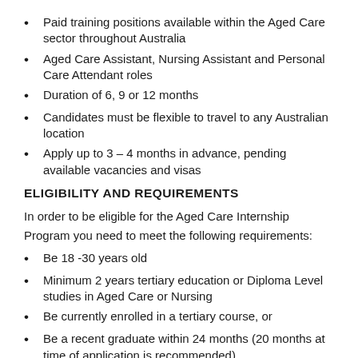Paid training positions available within the Aged Care sector throughout Australia
Aged Care Assistant, Nursing Assistant and Personal Care Attendant roles
Duration of 6, 9 or 12 months
Candidates must be flexible to travel to any Australian location
Apply up to 3 – 4 months in advance, pending available vacancies and visas
ELIGIBILITY AND REQUIREMENTS
In order to be eligible for the Aged Care Internship Program you need to meet the following requirements:
Be 18 -30 years old
Minimum 2 years tertiary education or Diploma Level studies in Aged Care or Nursing
Be currently enrolled in a tertiary course, or
Be a recent graduate within 24 months (20 months at time of application is recommended)
Upper-Intermediate to Advanced level of English